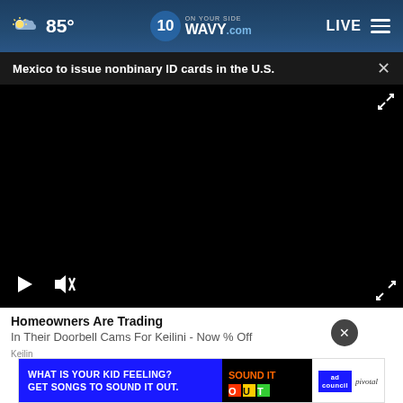85° WAVY.com ON YOUR SIDE LIVE
Mexico to issue nonbinary ID cards in the U.S.
[Figure (screenshot): Black video player area with play button, mute button, and expand icon controls]
Homeowners Are Trading
In Their Doorbell Cams For Keilini - Now % Off
Keilin
[Figure (screenshot): Banner advertisement: WHAT IS YOUR KID FEELING? GET SONGS TO SOUND IT OUT. with Sound It Out, Ad Council, and Pivotal logos]